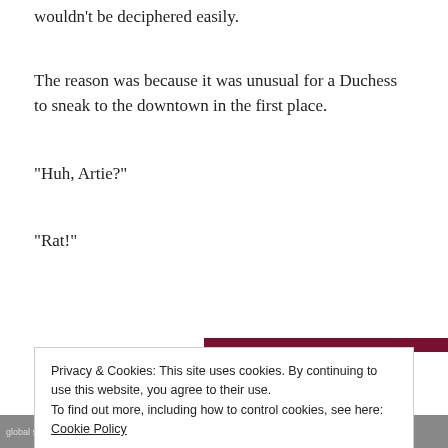wouldn't be deciphered easily.
The reason was because it was unusual for a Duchess to sneak to the downtown in the first place.
“Huh, Artie?”
“Rat!”
befriend
Privacy & Cookies: This site uses cookies. By continuing to use this website, you agree to their use.
To find out more, including how to control cookies, see here: Cookie Policy
Close and accept